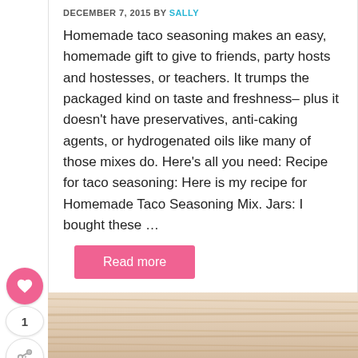DECEMBER 7, 2015 BY SALLY
Homemade taco seasoning makes an easy, homemade gift to give to friends, party hosts and hostesses, or teachers. It trumps the packaged kind on taste and freshness– plus it doesn't have preservatives, anti-caking agents, or hydrogenated oils like many of those mixes do. Here's all you need: Recipe for taco seasoning: Here is my recipe for Homemade Taco Seasoning Mix. Jars: I bought these …
Read more
[Figure (photo): Wooden surface background photo at the bottom of the page]